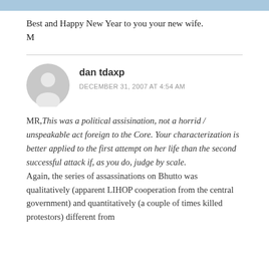Best and Happy New Year to you your new wife.
M
dan tdaxp
DECEMBER 31, 2007 AT 4:54 AM
MR, This was a political assisination, not a horrid / unspeakable act foreign to the Core. Your characterization is better applied to the first attempt on her life than the second successful attack if, as you do, judge by scale.
Again, the series of assassinations on Bhutto was qualitatively (apparent LIHOP cooperation from the central government) and quantitatively (a couple of times killed protestors) different from